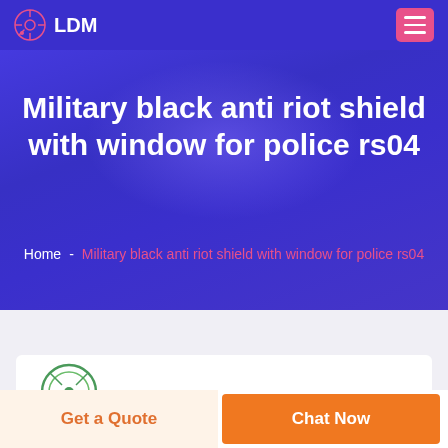LDM
Military black anti riot shield with window for police rs04
Home - Military black anti riot shield with window for police rs04
[Figure (logo): Circular logo partially visible at bottom of hero/card area]
Get a Quote
Chat Now